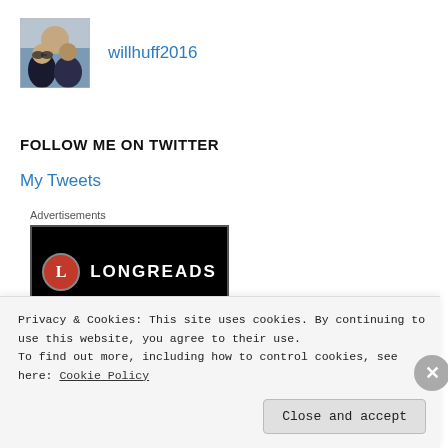[Figure (photo): Profile photo of a couple outdoors]
willhuff2016
FOLLOW ME ON TWITTER
My Tweets
Advertisements
[Figure (logo): Longreads logo on black background with red circle L icon]
Privacy & Cookies: This site uses cookies. By continuing to use this website, you agree to their use.
To find out more, including how to control cookies, see here: Cookie Policy
Close and accept